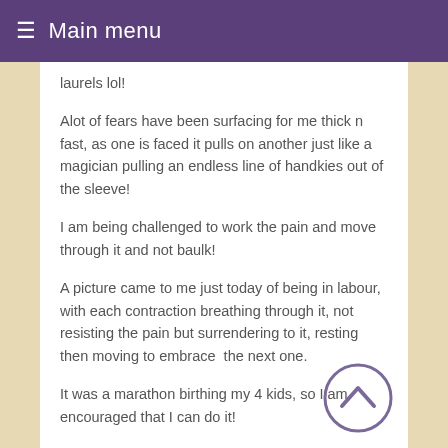≡ Main menu
laurels lol!
Alot of fears have been surfacing for me thick n fast, as one is faced it pulls on another just like a magician pulling an endless line of handkies out of the sleeve!
I am being challenged to work the pain and move through it and not baulk!
A picture came to me just today of being in labour, with each contraction breathing through it, not resisting the pain but surrendering to it, resting then moving to embrace  the next one.
It was a marathon birthing my 4 kids, so I am encouraged that I can do it!